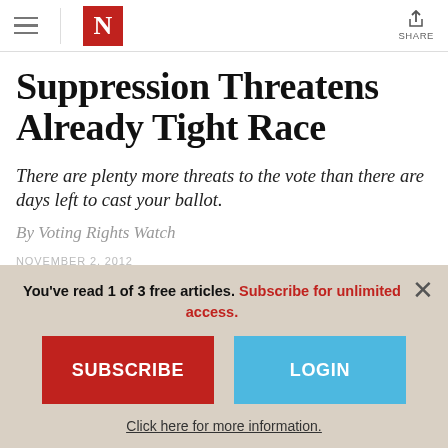N — The Nation
Suppression Threatens Already Tight Race
There are plenty more threats to the vote than there are days left to cast your ballot.
By Voting Rights Watch
NOVEMBER 2, 2012
You've read 1 of 3 free articles. Subscribe for unlimited access.
SUBSCRIBE
LOGIN
Click here for more information.